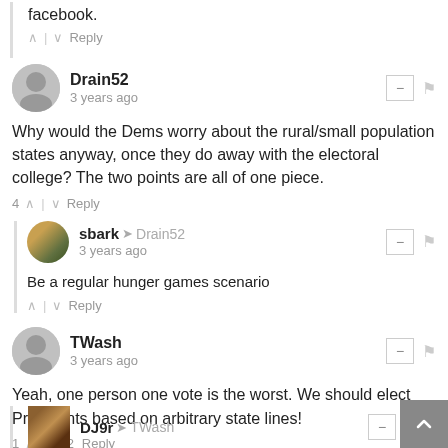facebook.
^ | v Reply
Drain52
3 years ago
Why would the Dems worry about the rural/small population states anyway, once they do away with the electoral college? The two points are all of one piece.
4 ^ | v Reply
sbark → Drain52
3 years ago
Be a regular hunger games scenario
^ | v Reply
TWash
3 years ago
Yeah, one person one vote is the worst. We should elect Presidents based on arbitrary state lines!
1 ^ | v 2 Reply
DJ9r → TWash